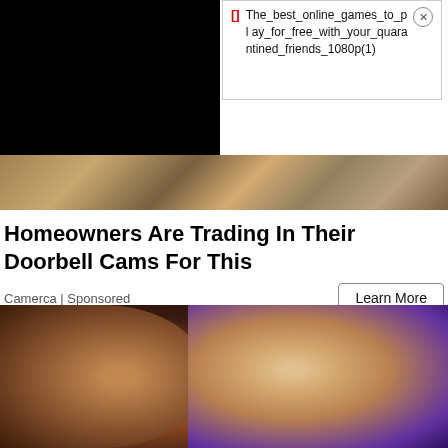[Figure (screenshot): Dark video thumbnail on left, black background]
The_best_online_games_to_play_for_free_with_your_quarantined_friends_1080p(1)
[Figure (photo): Doorbell camera image, stone/wood texture background]
Homeowners Are Trading In Their Doorbell Cams For This
Camerca | Sponsored
[Figure (photo): Two people facing each other in a dramatic close-up scene, dim warm lighting]